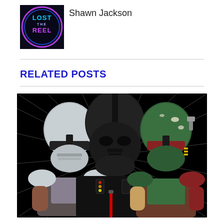[Figure (logo): Lost the Reel logo — circular glowing neon design with text LOST THE REEL in blue/purple on dark background]
Shawn Jackson
RELATED POSTS
[Figure (photo): Star Wars Funko Pop figures: The Mandalorian (gray helmet), Darth Vader (black, holding red lightsaber), and Boba Fett (green helmet) against a black star-warp background]